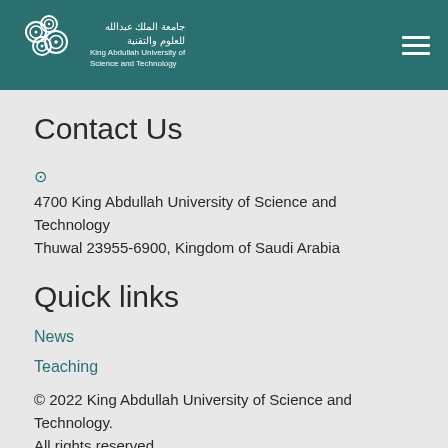[Figure (logo): King Abdullah University of Science and Technology logo with Arabic and English text, white on teal background]
Contact Us
4700 King Abdullah University of Science and Technology Thuwal 23955-6900, Kingdom of Saudi Arabia
Quick links
News
Teaching
© 2022 King Abdullah University of Science and Technology. All rights reserved
Privacy Policy    Terms of Use